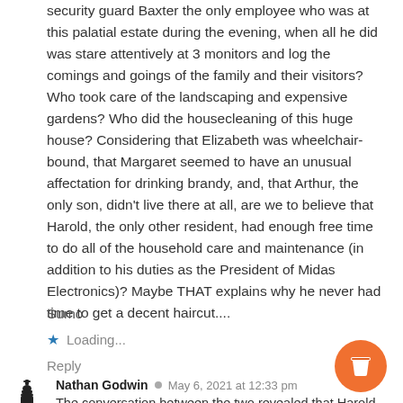security guard Baxter the only employee who was at this palatial estate during the evening, when all he did was stare attentively at 3 monitors and log the comings and goings of the family and their visitors? Who took care of the landscaping and expensive gardens? Who did the housecleaning of this huge house? Considering that Elizabeth was wheelchair-bound, that Margaret seemed to have an unusual affectation for drinking brandy, and, that Arthur, the only son, didn't live there at all, are we to believe that Harold, the only other resident, had enough free time to do all of the household care and maintenance (in addition to his duties as the President of Midas Electronics)? Maybe THAT explains why he never had time to get a decent haircut....
Sumo
Loading...
Reply
Nathan Godwin · May 6, 2021 at 12:33 pm
The conversation between the two revealed that Harold had